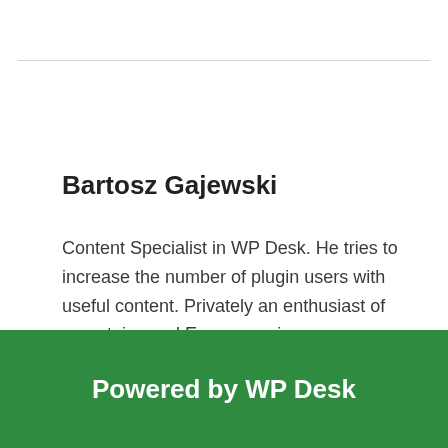Bartosz Gajewski
Content Specialist in WP Desk. He tries to increase the number of plugin users with useful content. Privately an enthusiast of mountains and European cinema.
Powered by WP Desk